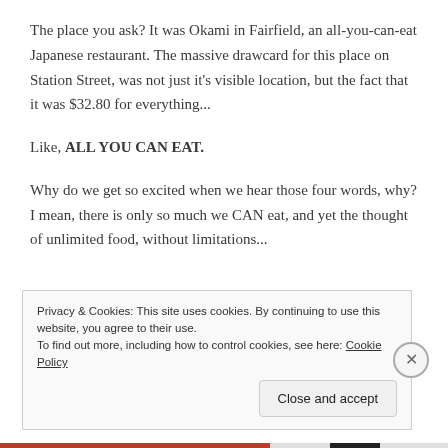The place you ask? It was Okami in Fairfield, an all-you-can-eat Japanese restaurant. The massive drawcard for this place on Station Street, was not just it's visible location, but the fact that it was $32.80 for everything...
Like, ALL YOU CAN EAT.
Why do we get so excited when we hear those four words, why? I mean, there is only so much we CAN eat, and yet the thought of unlimited food, without limitations...
Privacy & Cookies: This site uses cookies. By continuing to use this website, you agree to their use.
To find out more, including how to control cookies, see here: Cookie Policy
Close and accept